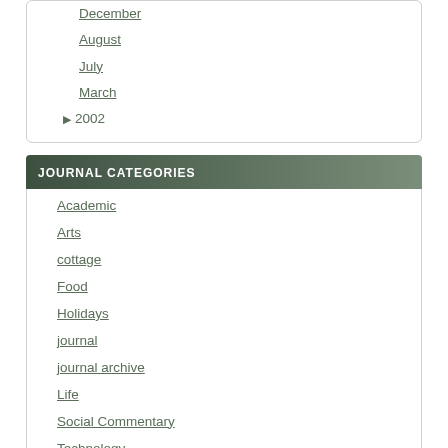December
August
July
March
▶ 2002
JOURNAL CATEGORIES
Academic
Arts
cottage
Food
Holidays
journal
journal archive
Life
Social Commentary
Technology
Travel
Uncategorized